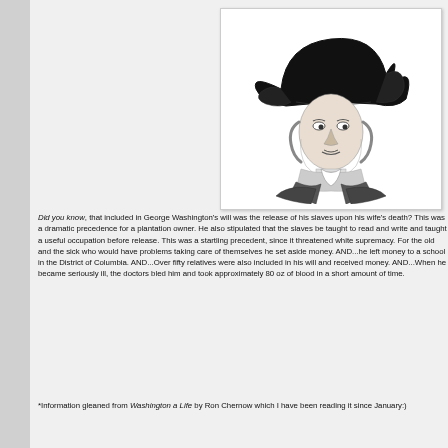[Figure (illustration): Black and white line art illustration of George Washington wearing a tricorn hat and colonial military uniform, facing slightly to the right.]
Did you know, that included in George Washington's will was the release of his slaves upon his wife's death? This was a dramatic precedence for a plantation owner. He also stipulated that the slaves be taught to read and write and taught a useful occupation before release. This was a startling precedent, since it threatened white supremacy. For the old and the sick who would have problems taking care of themselves he set aside money. AND...he left money to a school in the District of Columbia. AND...Over fifty relatives were also included in his will and received money. AND...When he became seriously ill, the doctors bled him and took approximately 80 oz of blood in a short amount of time.
*Information gleaned from Washington a Life by Ron Chernow which I have been reading it since January:)